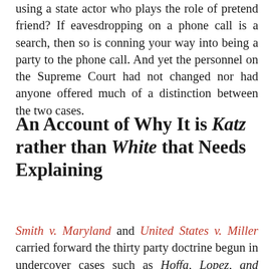using a state actor who plays the role of pretend friend? If eavesdropping on a phone call is a search, then so is conning your way into being a party to the phone call. And yet the personnel on the Supreme Court had not changed nor had anyone offered much of a distinction between the two cases.
An Account of Why It is Katz rather than White that Needs Explaining
Smith v. Maryland and United States v. Miller carried forward the thirty party doctrine begun in undercover cases such as Hoffa, Lopez, and White. Smith held